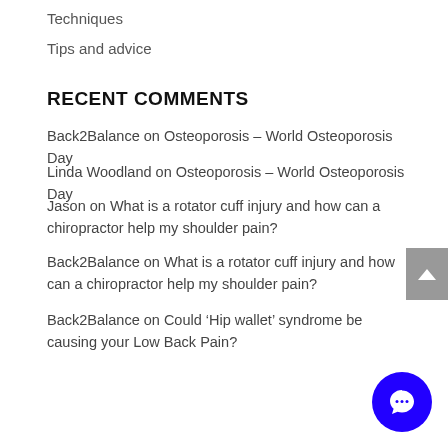Techniques
Tips and advice
RECENT COMMENTS
Back2Balance on Osteoporosis – World Osteoporosis Day
Linda Woodland on Osteoporosis – World Osteoporosis Day
Jason on What is a rotator cuff injury and how can a chiropractor help my shoulder pain?
Back2Balance on What is a rotator cuff injury and how can a chiropractor help my shoulder pain?
Back2Balance on Could ‘Hip wallet’ syndrome be causing your Low Back Pain?